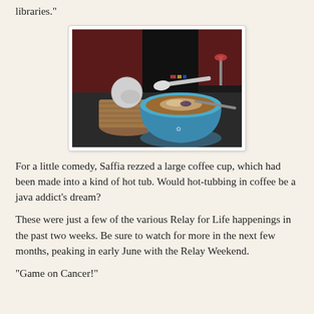libraries."
[Figure (photo): A virtual/3D rendered scene showing a large blue coffee cup resembling a hot tub, with a spoon resting on it, a round wicker basket with a ball-shaped lid on the left, and a dark background with red walls and a small lamp in the distance.]
For a little comedy, Saffia rezzed a large coffee cup, which had been made into a kind of hot tub. Would hot-tubbing in coffee be a java addict's dream?
These were just a few of the various Relay for Life happenings in the past two weeks. Be sure to watch for more in the next few months, peaking in early June with the Relay Weekend.
"Game on Cancer!"